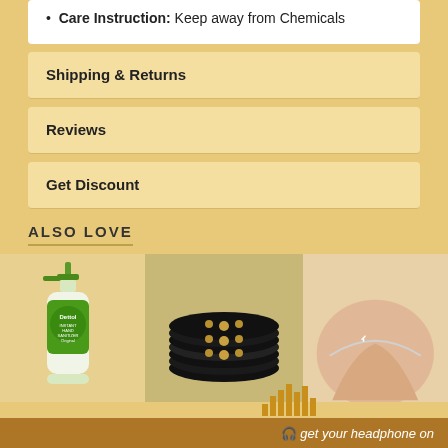Care Instruction: Keep away from Chemicals
Shipping & Returns
Reviews
Get Discount
ALSO LOVE
[Figure (photo): Dettol Instant Hand Sanitizer Original pump bottle]
[Figure (photo): Black hair elastic bands with decorative gold beads/charms]
[Figure (photo): Woman's ankle wearing a silver anklet bracelet]
get your headphone on